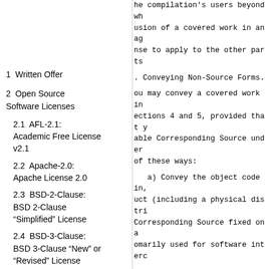1  Written Offer
2  Open Source Software Licenses
2.1  AFL-2.1: Academic Free License v2.1
2.2  Apache-2.0: Apache License 2.0
2.3  BSD-2-Clause: BSD 2-Clause “Simplified” License
2.4  BSD-3-Clause: BSD 3-Clause “New” or “Revised” License
2.5  BSD-3-Clause-Clear: BSD 3-Clause Clear License
he compilation's users beyond wh usion of a covered work in an ag nse to apply to the other parts
. Conveying Non-Source Forms.
ou may convey a covered work in ections 4 and 5, provided that y able Corresponding Source under of these ways:
a) Convey the object code in, uct (including a physical distri Corresponding Source fixed on a omarily used for software interc
b) Convey the object code in, uct (including a physical distri ten offer, valid for at least th ou offer spare parts or customer ive anyone who possesses the obj Corresponding Source for all the red by this License, on a durabl